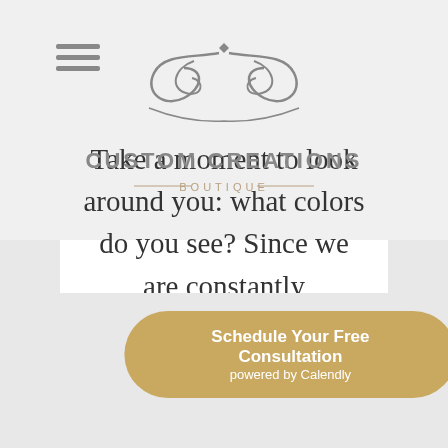[Figure (logo): Custom Creations Boutique logo with decorative scrollwork above text]
Take a moment to look around you: what colors do you see? Since we are constantly surrounded by
+ READ MORE
Schedule Your Free Consultation
powered by Calendly